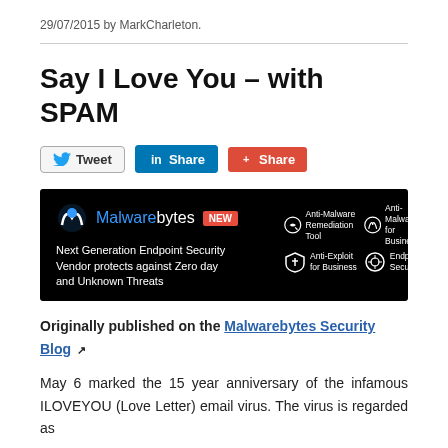29/07/2015 by MarkCharleton.
Say I Love You – with SPAM
[Figure (illustration): Malwarebytes advertisement banner on black background showing logo with NEW badge, tagline 'Next Generation Endpoint Security Vendor protects against Zero day and Unknown Threats', and product icons for Anti-Malware Remediation Tool, Anti-Malware for Business, Anti-Exploit for Business, and Endpoint Security]
Originally published on the Malwarebytes Security Blog ↗
May 6 marked the 15 year anniversary of the infamous ILOVEYOU (Love Letter) email virus. The virus is regarded as